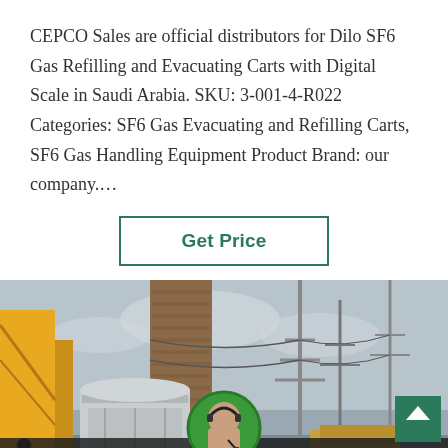CEPCO Sales are official distributors for Dilo SF6 Gas Refilling and Evacuating Carts with Digital Scale in Saudi Arabia. SKU: 3-001-4-R022 Categories: SF6 Gas Evacuating and Refilling Carts, SF6 Gas Handling Equipment Product Brand: our company.…
[Figure (other): Button labeled 'Get Price' with teal border on white background]
[Figure (photo): Industrial electrical substation scene showing yellow crane, large transformer equipment, high-voltage tower structures, and overhead power lines against a cloudy sky. A person is visible at far left. An ISUZU truck is partially visible at bottom right.]